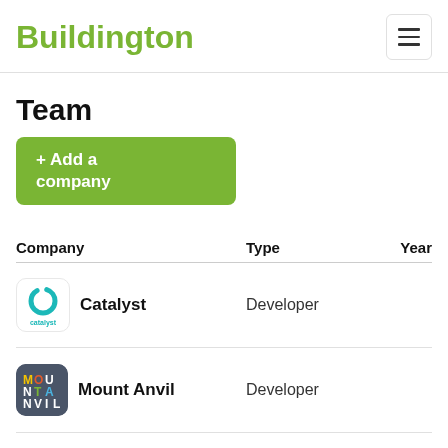Buildington
Team
+ Add a company
| Company | Type | Year |
| --- | --- | --- |
| Catalyst | Developer |  |
| Mount Anvil | Developer |  |
| Levitt Bernstein | Architect |  |